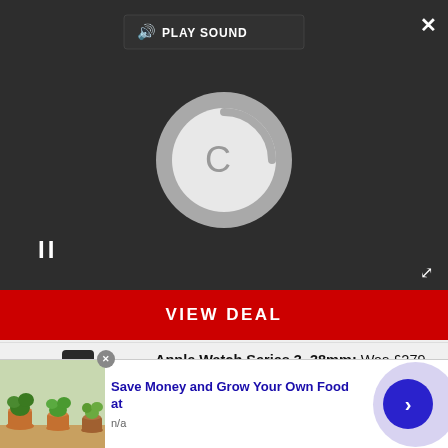[Figure (screenshot): Video player with dark background, loading spinner, pause button, play sound button, close X button, and expand arrows]
VIEW DEAL
[Figure (photo): Apple Watch Series 3 in black/space gray]
Apple Watch Series 3, 38mm: Was £279 now £189
Yes, it can tell you the time, but there's so much more to the Apple Watch than that. Keep track of your
[Figure (screenshot): Advertisement banner: Save Money and Grow Your Own Food at, n/a, with plant/pot image and arrow navigation button]